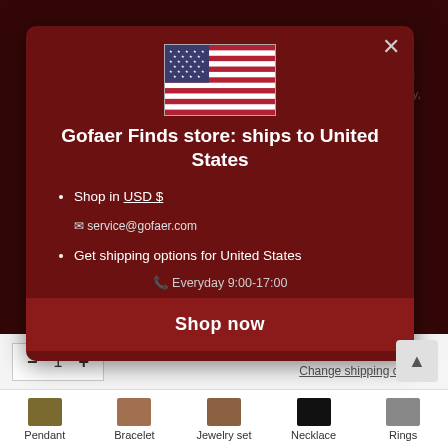[Figure (screenshot): Screenshot of Gofaer Finds e-commerce website with a modal popup dialog showing shipping destination and shop information for United States]
Gofaer Finds store: ships to United States
We discover all kinds of interesting geek gifts for you. Including jewelry, watches, household goods, garden supplies, health and sports, beauty and health, home decoration, etc more Gifts For Geeks That Satisfy Every Geeky, you can simply give to that special people!.
Shop in USD $
Get shipping options for United States
service@gofaer.com
Everyday 9:00-17:00
Shop now
ADD TO CART
Change shipping country
Pendant
Bracelet
Jewelry set
Necklace
Rings